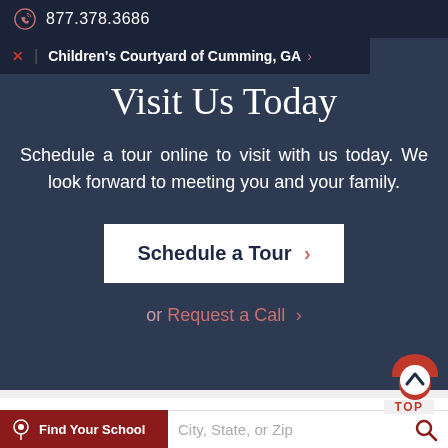877.378.3686
Children's Courtyard of Cumming, GA
Visit Us Today
Schedule a tour online to visit with us today. We look forward to meeting you and your family.
Schedule a Tour
or Request a Call
TOP
Find Your School
City, State, or Zip